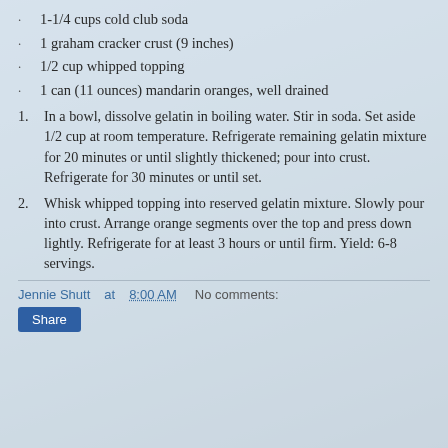1-1/4 cups cold club soda
1 graham cracker crust (9 inches)
1/2 cup whipped topping
1 can (11 ounces) mandarin oranges, well drained
1. In a bowl, dissolve gelatin in boiling water. Stir in soda. Set aside 1/2 cup at room temperature. Refrigerate remaining gelatin mixture for 20 minutes or until slightly thickened; pour into crust. Refrigerate for 30 minutes or until set.
2. Whisk whipped topping into reserved gelatin mixture. Slowly pour into crust. Arrange orange segments over the top and press down lightly. Refrigerate for at least 3 hours or until firm. Yield: 6-8 servings.
Jennie Shutt at 8:00 AM   No comments:   Share